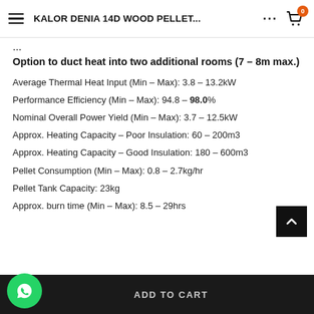KALOR DENIA 14D WOOD PELLET...
Option to duct heat into two additional rooms (7 – 8m max.)
Average Thermal Heat Input (Min – Max): 3.8 – 13.2kW
Performance Efficiency (Min – Max): 94.8 – 98.0%
Nominal Overall Power Yield (Min – Max): 3.7 – 12.5kW
Approx. Heating Capacity – Poor Insulation: 60 – 200m3
Approx. Heating Capacity – Good Insulation: 180 – 600m3
Pellet Consumption (Min – Max): 0.8 – 2.7kg/hr
Pellet Tank Capacity: 23kg
Approx. burn time (Min – Max): 8.5 – 29hrs
ADD TO CART